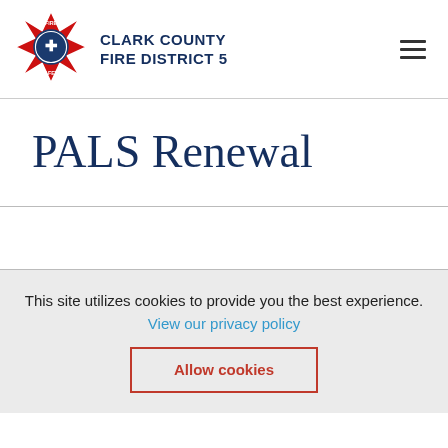[Figure (logo): Clark County Fire District 5 badge/seal logo in red and blue with fire department emblem]
CLARK COUNTY FIRE DISTRICT 5
PALS Renewal
This site utilizes cookies to provide you the best experience.
View our privacy policy
Allow cookies